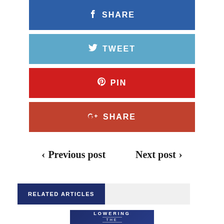[Figure (other): Facebook share button - blue rectangle with 'f SHARE' text in white]
[Figure (other): Twitter tweet button - light blue rectangle with bird icon and 'TWEET' text in white]
[Figure (other): Pinterest pin button - red rectangle with Pinterest icon and 'PIN' text in white]
[Figure (other): Google+ share button - dark red/terra cotta rectangle with G+ icon and 'SHARE' text in white]
< Previous post
Next post >
RELATED ARTICLES
[Figure (logo): Lowering the Bar logo - dark blue background with scales of justice shield emblem and text LOWERING THE BAR]